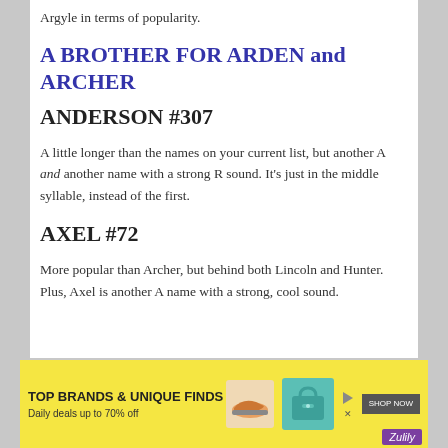Argyle in terms of popularity.
A BROTHER FOR ARDEN and ARCHER
ANDERSON #307
A little longer than the names on your current list, but another A and another name with a strong R sound. It’s just in the middle syllable, instead of the first.
AXEL #72
More popular than Archer, but behind both Lincoln and Hunter. Plus, Axel is another A name with a strong, cool sound.
[Figure (infographic): Advertisement banner: TOP BRANDS & UNIQUE FINDS. Daily deals up to 70% off. Shop Now button. Images of shoes and a teal handbag. Zulily branding.]